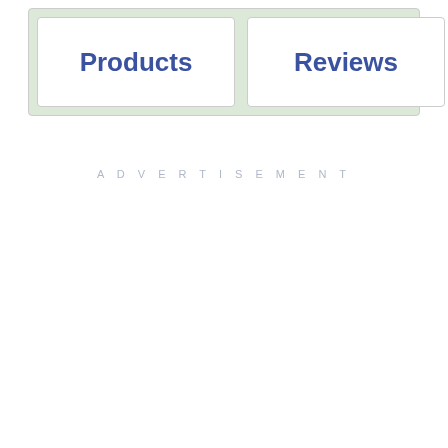[Figure (screenshot): Navigation bar with tabs: Products, (D partially visible), Reviews, About, (Coupons partially visible), on a light green background. Products, Reviews, and About tabs are white rounded rectangles with blue bold text.]
ADVERTISEMENT